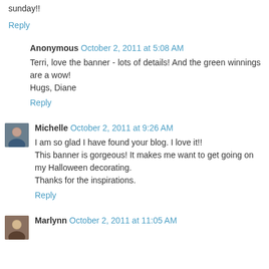sunday!!
Reply
Anonymous October 2, 2011 at 5:08 AM
Terri, love the banner - lots of details! And the green winnings are a wow!
Hugs, Diane
Reply
Michelle October 2, 2011 at 9:26 AM
I am so glad I have found your blog. I love it!!
This banner is gorgeous! It makes me want to get going on my Halloween decorating.
Thanks for the inspirations.
Reply
Marlynn October 2, 2011 at 11:05 AM